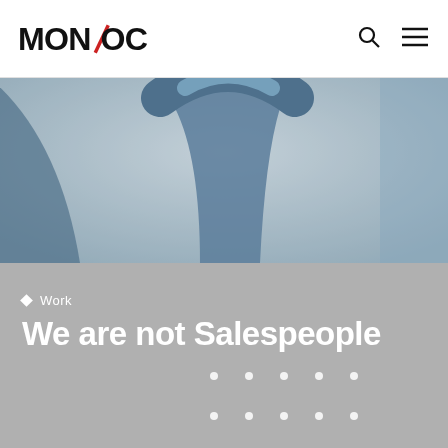MONOCLE
[Figure (photo): Close-up photo of a dark blue/grey rounded shape, possibly a chair back or curved furniture, against a light grey background]
Work
We are not Salespeople